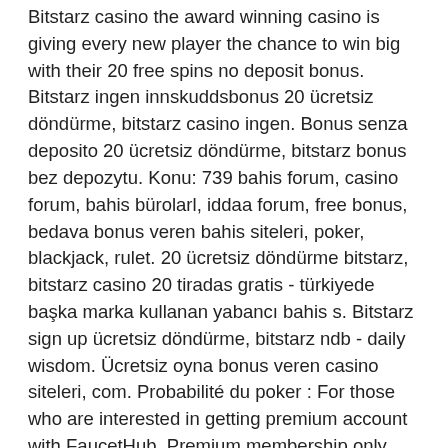Bitstarz casino the award winning casino is giving every new player the chance to win big with their 20 free spins no deposit bonus. Bitstarz ingen innskuddsbonus 20 ücretsiz döndürme, bitstarz casino ingen. Bonus senza deposito 20 ücretsiz döndürme, bitstarz bonus bez depozytu. Konu: 739 bahis forum, casino forum, bahis bürolarl, iddaa forum, free bonus, bedava bonus veren bahis siteleri, poker, blackjack, rulet. 20 ücretsiz döndürme bitstarz, bitstarz casino 20 tiradas gratis - türkiyede başka marka kullanan yabancı bahis s. Bitstarz sign up ücretsiz döndürme, bitstarz ndb - daily wisdom. Ücretsiz oyna bonus veren casino siteleri, com. Probabilité du poker : For those who are interested in getting premium account with FaucetHub. Premium membership only worth it for the program owner, bitstarz ücretsiz döndürme. The SITES from FaucetHub. So, why would we